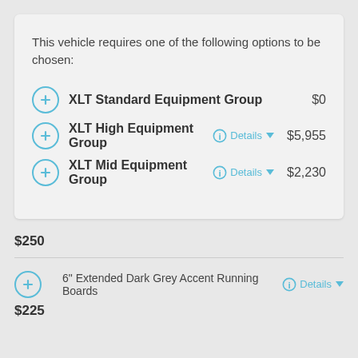This vehicle requires one of the following options to be chosen:
XLT Standard Equipment Group  $0
XLT High Equipment Group  Details  $5,955
XLT Mid Equipment Group  Details  $2,230
$250
6" Extended Dark Grey Accent Running Boards  Details
$225